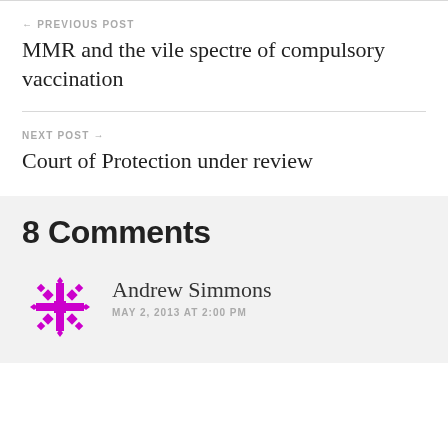← PREVIOUS POST
MMR and the vile spectre of compulsory vaccination
NEXT POST →
Court of Protection under review
8 Comments
Andrew Simmons
MAY 2, 2013 AT 2:00 PM